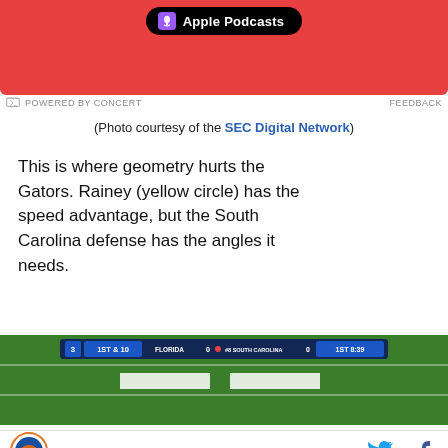[Figure (screenshot): Apple Podcasts promotional banner with red background]
POWERED BY CONCERT    FEEDBACK
(Photo courtesy of the SEC Digital Network)
This is where geometry hurts the Gators. Rainey (yellow circle) has the speed advantage, but the South Carolina defense has the angles it needs.
[Figure (screenshot): Football field broadcast screenshot showing scoreboard: 1ST & 10, FLORIDA 0, #8 SOUTH CAROLINA 0, 1ST 8:39]
Site logo, Twitter icon, Facebook icon